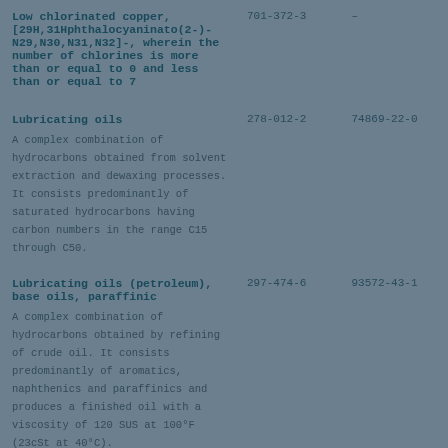| Substance Name | EC Number | CAS Number |
| --- | --- | --- |
| Low chlorinated copper, [29H,31Hphthalocyaninato(2-)-N29,N30,N31,N32]-, wherein the number of chlorines is more than or equal to 0 and less than or equal to 7 | 701-372-3 | – |
| Lubricating oils
A complex combination of hydrocarbons obtained from solvent extraction and dewaxing processes. It consists predominantly of saturated hydrocarbons having carbon numbers in the range C15 through C50. | 278-012-2 | 74869-22-0 |
| Lubricating oils (petroleum), base oils, paraffinic
A complex combination of hydrocarbons obtained by refining of crude oil. It consists predominantly of aromatics, naphthenics and paraffinics and produces a finished oil with a viscosity of 120 SUS at 100°F (23cSt at 40°C). | 297-474-6 | 93572-43-1 |
| Lubricating oils (petroleum), base oils, paraffinic
A complex combination of hydrocarbons... | 297-474-6 | 93572-43-1 |